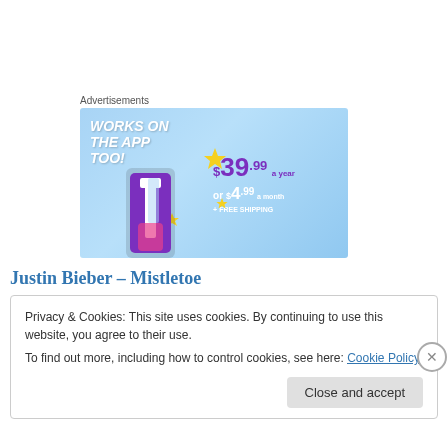Advertisements
[Figure (illustration): Advertisement banner with light blue background. Left side reads 'WORKS ON THE APP TOO!' in white bold italic text with yellow sparkle decorations and a Tumblr logo character. Right side shows pricing: $39.99 a year or $4.99 a month + FREE SHIPPING in purple and white text.]
Justin Bieber – Mistletoe
Privacy & Cookies: This site uses cookies. By continuing to use this website, you agree to their use.
To find out more, including how to control cookies, see here: Cookie Policy
Close and accept